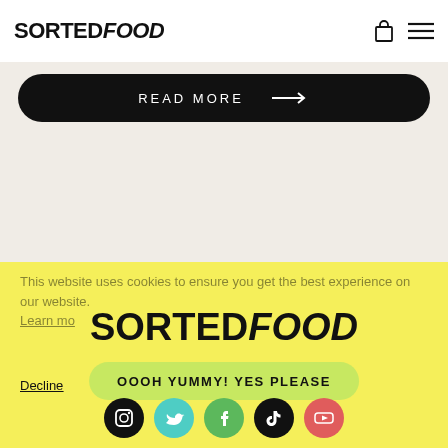SORTED FOOD
READ MORE →
This website uses cookies to ensure you get the best experience on our website. Learn more
[Figure (logo): SORTED FOOD logo centered on yellow background]
OOOH YUMMY! YES PLEASE
Decline
[Figure (infographic): Social media icons row: Instagram, Twitter, Facebook, TikTok, YouTube]